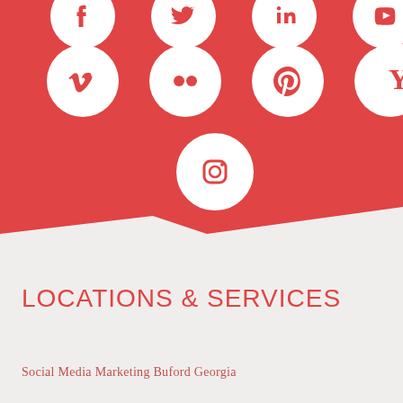[Figure (infographic): Red background section with social media icons in white circles arranged in rows: top row partially visible (Facebook, Twitter/X, LinkedIn, YouTube), second row (Vimeo, Flickr, Pinterest, Skype, Y!), third row center (Instagram)]
LOCATIONS & SERVICES
Social Media Marketing Buford Georgia